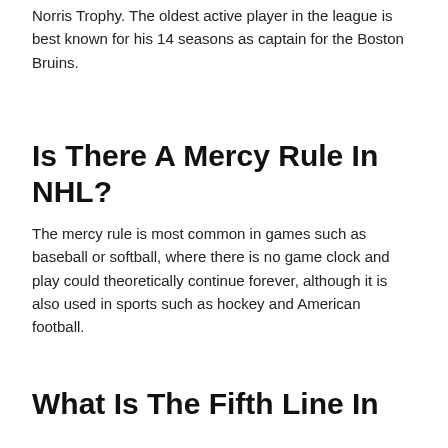Norris Trophy. The oldest active player in the league is best known for his 14 seasons as captain for the Boston Bruins.
Is There A Mercy Rule In NHL?
The mercy rule is most common in games such as baseball or softball, where there is no game clock and play could theoretically continue forever, although it is also used in sports such as hockey and American football.
What Is The Fifth Line In